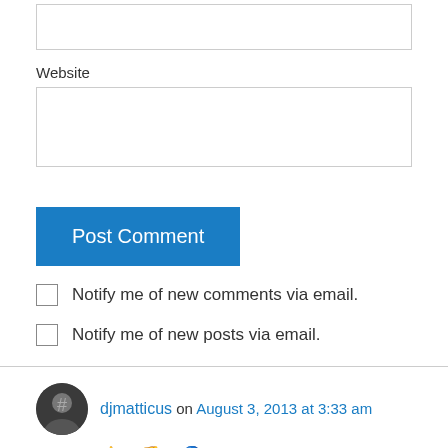Website
Post Comment
Notify me of new comments via email.
Notify me of new posts via email.
djmatticus on August 3, 2013 at 3:33 am
👍 0 👎 0 🔵 Rate This
I hate it when that happens!! And it happens all too frequently. Also, recently, I've had a bunch of